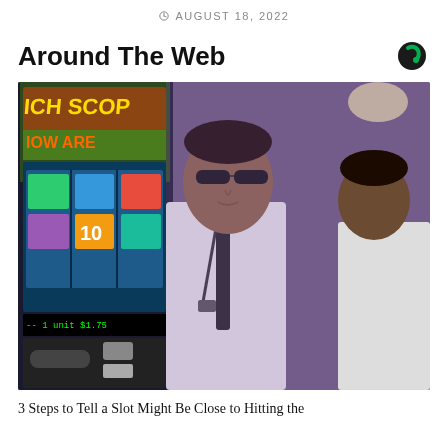AUGUST 18, 2022
Around The Web
[Figure (photo): Casino scene with slot machines visible on the left showing a card game display with '10' visible. Two men stand in the center and right — the man in the center wears a white shirt and dark tie with a lanyard, the man on the right wears a white shirt. The background shows a casino interior with purple/pink lighting.]
3 Steps to Tell a Slot Might Be Close to Hitting the